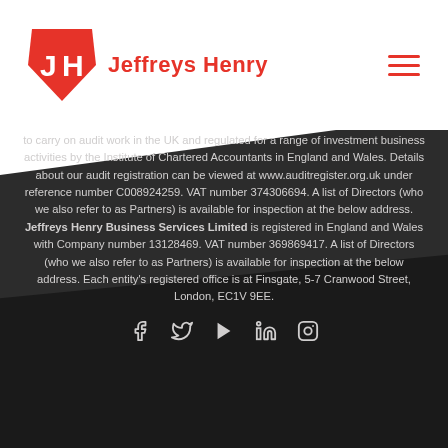[Figure (logo): Jeffreys Henry logo with red pentagon/arrow shape containing JH initials and red text 'Jeffreys Henry']
to carry on audit work in the UK and regulated for a range of investment business activities by the Institute of Chartered Accountants in England and Wales. Details about our audit registration can be viewed at www.auditregister.org.uk under reference number C008924259. VAT number 374306694. A list of Directors (who we also refer to as Partners) is available for inspection at the below address. Jeffreys Henry Business Services Limited is registered in England and Wales with Company number 13128469. VAT number 369869417. A list of Directors (who we also refer to as Partners) is available for inspection at the below address. Each entity's registered office is at Finsgate, 5-7 Cranwood Street, London, EC1V 9EE.
[Figure (infographic): Social media icons: Facebook, Twitter, YouTube play button, LinkedIn, Instagram]